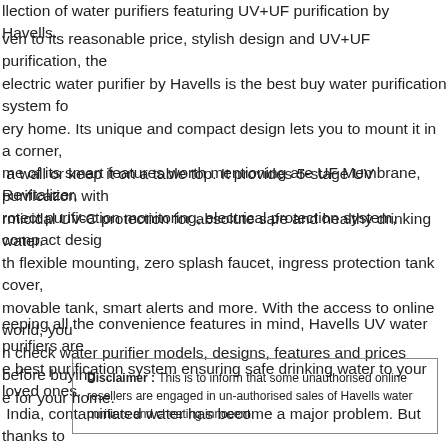llection of water purifiers featuring UV+UF purification by Havells.
ven to its reasonable price, stylish design and UV+UF purification, the electric water purifier by Havells is the best buy water purification system for every home. Its unique and compact design lets you to mount it in a corner, a wall or keep it on a table top. It provides 5-stage UV purification with rmicidal UV-C protection for absolute safe and healthy drinking water.
me of its smart features worth mentioning are UF Membrane, Revitalizer, rotect purification monitoring, electrical protection system, compact design th flexible mounting, zero splash faucet, ingress protection tank cover, movable tank, smart alerts and more. With the access to online world, you n check water purifier models, designs, features and prices before buying e for your home.
eeping all the convenience features in mind, Havells UV water purifiers are e best purification system ensuring safe drinking water to your loved ones. India, contaminated water has become a major problem. But thanks to avells water purifiers, you can have safe, clean and healthy drinking water ing its double UV purification. Enjoy drinking clean water!
Disclaimer : This is to inform that some unauthorised online resellers are engaged in un-authorised sales of Havells water purifiers and cheating innocent